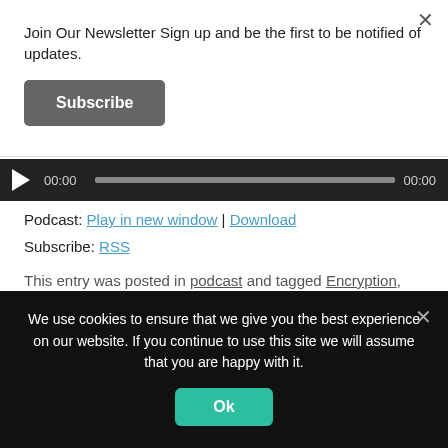Join Our Newsletter Sign up and be the first to be notified of updates.
Subscribe
[Figure (other): Audio player with play button, progress bar, and time indicators showing 00:00 on both sides]
Podcast: Play in new window | Download
Subscribe: RSS
This entry was posted in podcast and tagged Encryption, FBI, ghost, Hack, iOS, iphone, MartianCraft, open source, Panic,
We use cookies to ensure that we give you the best experience on our website. If you continue to use this site we will assume that you are happy with it.
Ok